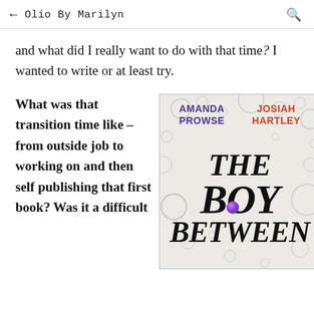← Olio By Marilyn 🔍
and what did I really want to do with that time? I wanted to write or at least try.
What was that transition time like – from outside job to working on and then self publishing that first book? Was it a difficult
[Figure (photo): Book cover for 'The Boy Between' by Amanda Prowse and Josiah Hartley. Light background with bubble/droplet texture. Authors names in purple (Amanda Prowse) and red (Josiah Hartley) at top. Large hand-lettered style title 'THE BOY BETWEEN' in black.]